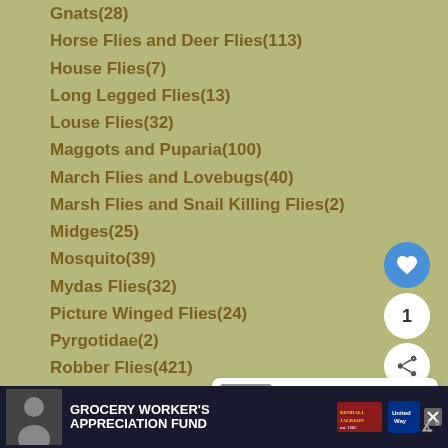Gnats(28)
Horse Flies and Deer Flies(113)
House Flies(7)
Long Legged Flies(13)
Louse Flies(32)
Maggots and Puparia(100)
March Flies and Lovebugs(40)
Marsh Flies and Snail Killing Flies(2)
Midges(25)
Mosquito(39)
Mydas Flies(32)
Picture Winged Flies(24)
Pyrgotidae(2)
Robber Flies(421)
Root Maggot Fly(2)
Scuttle Flies(2)
Shore Flies(1)
Signal Flies(8)
Small Headed Flies(9)
[Figure (screenshot): UI overlay with heart/favorite button (blue circle with heart icon), count button showing '1', and share button]
[Figure (screenshot): What's Next panel showing 'Polka Dot Wasp Moth' with thumbnail image]
[Figure (screenshot): Advertisement banner for Grocery Worker's Appreciation Fund with Kendall-Jackson and United Way logos]